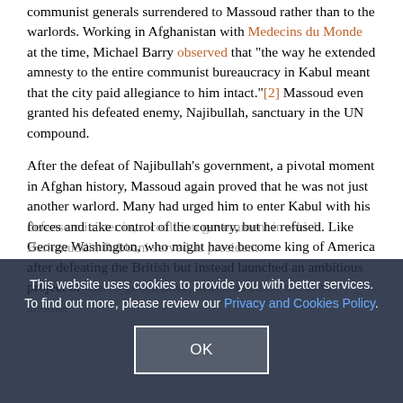communist generals surrendered to Massoud rather than to the warlords. Working in Afghanistan with Medecins du Monde at the time, Michael Barry observed that "the way he extended amnesty to the entire communist bureaucracy in Kabul meant that the city paid allegiance to him intact."[2] Massoud even granted his defeated enemy, Najibullah, sanctuary in the UN compound.

After the defeat of Najibullah's government, a pivotal moment in Afghan history, Massoud again proved that he was not just another warlord. Many had urged him to enter Kabul with his forces and take control of the country, but he refused. Like George Washington, who might have become king of America after defeating the British but instead launched an ambitious project of shared governance, Massoud chose not to be another ... defense minister in, a coalition government in which Berhanuddin Rabbani served as president.
This website uses cookies to provide you with better services. To find out more, please review our Privacy and Cookies Policy.
OK